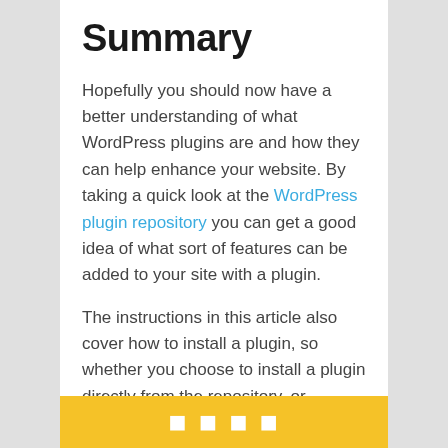Summary
Hopefully you should now have a better understanding of what WordPress plugins are and how they can help enhance your website. By taking a quick look at the WordPress plugin repository you can get a good idea of what sort of features can be added to your site with a plugin.
The instructions in this article also cover how to install a plugin, so whether you choose to install a plugin directly from the repository, or download one from elsewhere, you can follow these steps to easily add it to your site.
[Figure (other): Yellow/gold banner bar at the bottom of the page with large white bold text partially visible]